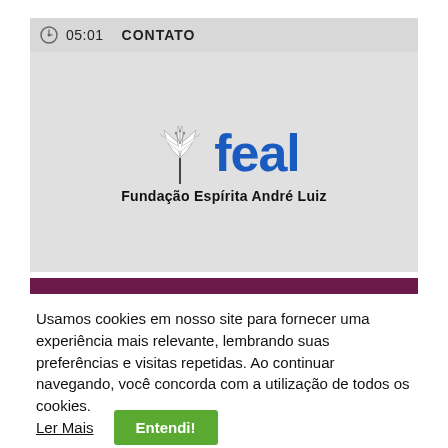05:01   CONTATO
[Figure (logo): FEAL logo — white lily flower icon beside bold blue text 'feal', with subtitle 'Fundação Espírita André Luiz' in black below, on a light gray background]
Usamos cookies em nosso site para fornecer uma experiência mais relevante, lembrando suas preferências e visitas repetidas. Ao continuar navegando, você concorda com a utilização de todos os cookies.
Ler Mais   Entendi!